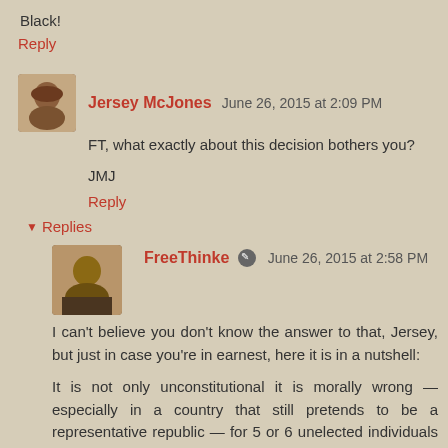Black!
Reply
Jersey McJones  June 26, 2015 at 2:09 PM
FT, what exactly about this decision bothers you?
JMJ
Reply
▾ Replies
FreeThinke  June 26, 2015 at 2:58 PM
I can't believe you don't know the answer to that, Jersey, but just in case you're in earnest, here it is in a nutshell:
It is not only unconstitutional it is morally wrong — especially in a country that still pretends to be a representative republic — for 5 or 6 unelected individuals to be able to thwart the will of the